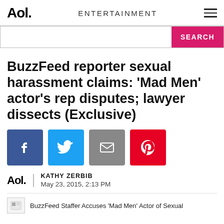Aol. ENTERTAINMENT
BuzzFeed reporter sexual harassment claims: 'Mad Men' actor's rep disputes; lawyer dissects (Exclusive)
[Figure (infographic): Social share buttons: Facebook (blue), Twitter (light blue), Email (gray), Pinterest (red)]
KATHY ZERBIB
May 23, 2015, 2:13 PM
BuzzFeed Staffer Accuses &#39;Mad Men&#39; Actor of Sexual